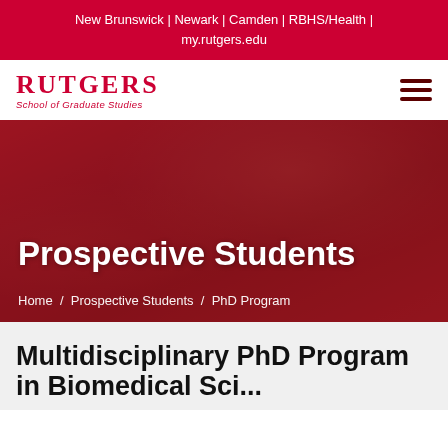New Brunswick | Newark | Camden | RBHS/Health | my.rutgers.edu
[Figure (logo): Rutgers School of Graduate Studies logo with red text and hamburger menu icon]
[Figure (photo): Hero image of Rutgers campus with red-tinted overlay showing lamp posts and autumn trees]
Prospective Students
Home / Prospective Students / PhD Program
Multidisciplinary PhD Program in Biomedical Sci...